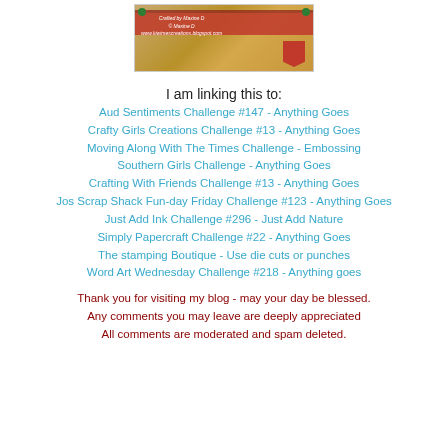[Figure (photo): Craft project photo showing a decorated item with red ribbon/band, burlap-like texture, green brads, and a red tag. Text overlay reads: Crafted by Maxine D, © Maxine D, www.kiwimescreations.blogspot.com]
I am linking this to:
Aud Sentiments Challenge #147 - Anything Goes
Crafty Girls Creations Challenge #13 - Anything Goes
Moving Along With The Times Challenge - Embossing
Southern Girls Challenge - Anything Goes
Crafting With Friends Challenge #13 - Anything Goes
Jos Scrap Shack Fun-day Friday Challenge #123 - Anything Goes
Just Add Ink Challenge #296 - Just Add Nature
Simply Papercraft Challenge #22 - Anything Goes
The stamping Boutique - Use die cuts or punches
Word Art Wednesday Challenge #218 - Anything goes
Thank you for visiting my blog - may your day be blessed. Any comments you may leave are deeply appreciated All comments are moderated and spam deleted.